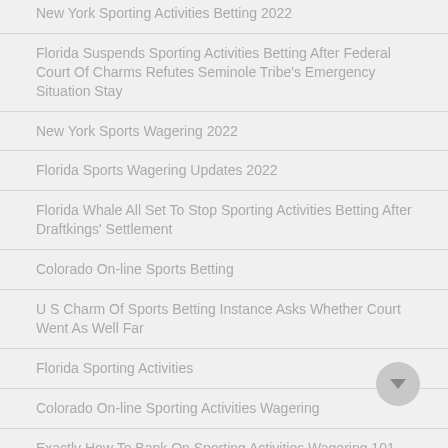New York Sporting Activities Betting 2022
Florida Suspends Sporting Activities Betting After Federal Court Of Charms Refutes Seminole Tribe's Emergency Situation Stay
New York Sports Wagering 2022
Florida Sports Wagering Updates 2022
Florida Whale All Set To Stop Sporting Activities Betting After Draftkings' Settlement
Colorado On-line Sports Betting
U S Charm Of Sports Betting Instance Asks Whether Court Went As Well Far
Florida Sporting Activities
Colorado On-line Sporting Activities Wagering
Exactly How To Bank On Sporting Activities Wagering 101 For Newbies